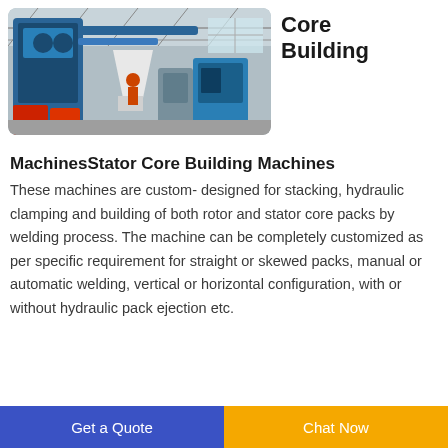[Figure (photo): Industrial factory floor showing blue machinery, red containers, and manufacturing equipment inside a large warehouse with metal roof structure]
Core Building
MachinesStator Core Building Machines
These machines are custom- designed for stacking, hydraulic clamping and building of both rotor and stator core packs by welding process. The machine can be completely customized as per specific requirement for straight or skewed packs, manual or automatic welding, vertical or horizontal configuration, with or without hydraulic pack ejection etc.
Get a Quote | Chat Now